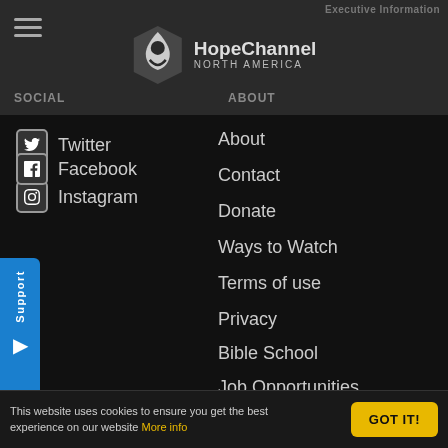HopeChannel NORTH AMERICA
SOCIAL
Twitter
Facebook
Instagram
ABOUT
About
Contact
Donate
Ways to Watch
Terms of use
Privacy
Bible School
Job Opportunities
CONTACT
12501 Old Columbia Pike
Silver Spring, MD 20904 USA
This website uses cookies to ensure you get the best experience on our website More info